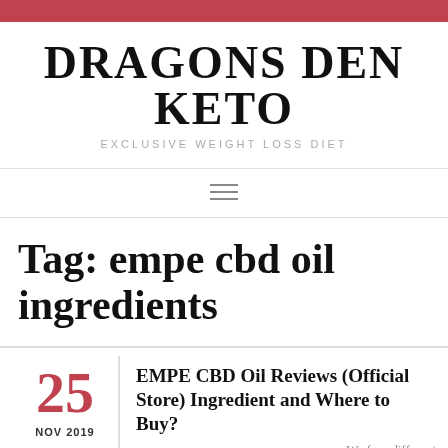DRAGONS DEN KETO
EXCLUSIVE WEIGHT LOSS DIET
Tag: empe cbd oil ingredients
25 NOV 2019
EMPE CBD Oil Reviews (Official Store) Ingredient and Where to Buy?
We face different